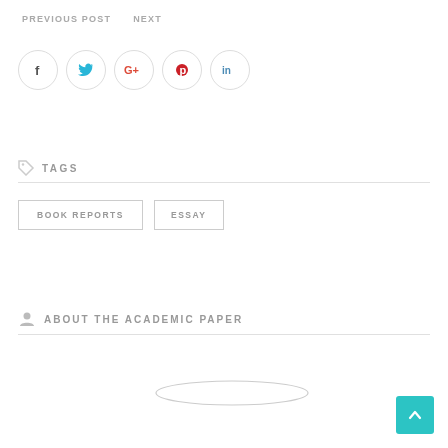PREVIOUS POST   NEXT
[Figure (infographic): Row of 5 social media icon circles: Facebook (f), Twitter (bird), Google+ (G+), Pinterest (p), LinkedIn (in)]
TAGS
BOOK REPORTS
ESSAY
ABOUT THE ACADEMIC PAPER
[Figure (illustration): An oval/ellipse shape outline near the bottom center of the page]
[Figure (other): Teal/turquoise back-to-top arrow button in bottom right corner]